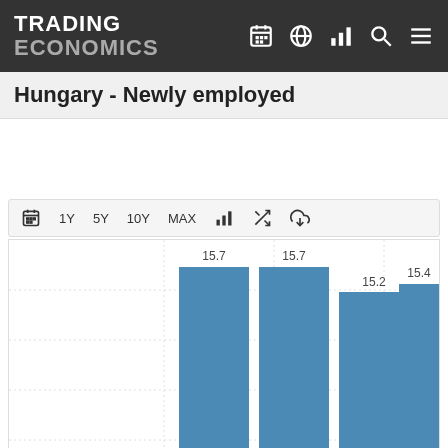TRADING ECONOMICS
Hungary - Newly employed
[Figure (bar-chart): Hungary - Newly employed]